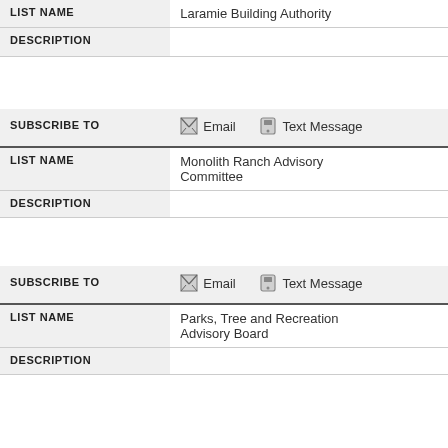| Field | Value |
| --- | --- |
| LIST NAME | Laramie Building Authority |
| DESCRIPTION |  |
| SUBSCRIBE TO | Email  Text Message |
| LIST NAME | Monolith Ranch Advisory Committee |
| DESCRIPTION |  |
| SUBSCRIBE TO | Email  Text Message |
| LIST NAME | Parks, Tree and Recreation Advisory Board |
| DESCRIPTION |  |